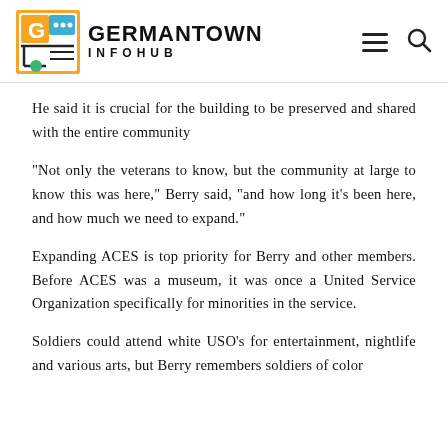GERMANTOWN INFOHUB
He said it is crucial for the building to be preserved and shared with the entire community
“Not only the veterans to know, but the community at large to know this was here,” Berry said, “and how long it's been here, and how much we need to expand.”
Expanding ACES is top priority for Berry and other members. Before ACES was a museum, it was once a United Service Organization specifically for minorities in the service.
Soldiers could attend white USO's for entertainment, nightlife and various arts, but Berry remembers soldiers of color